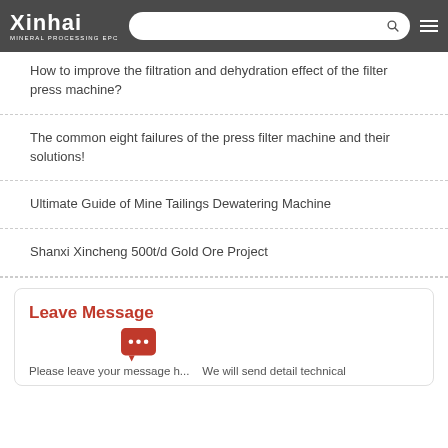Xinhai MINERAL PROCESSING EPC
How to improve the filtration and dehydration effect of the filter press machine?
The common eight failures of the press filter machine and their solutions!
Ultimate Guide of Mine Tailings Dewatering Machine
Shanxi Xincheng 500t/d Gold Ore Project
Leave Message
Please leave your message h... We will send detail technical